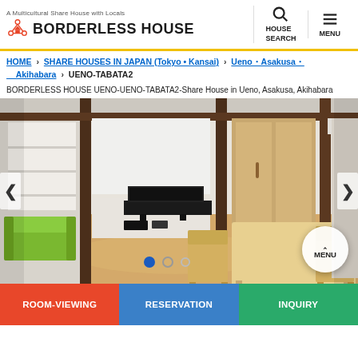A Multicultural Share House with Locals BORDERLESS HOUSE | HOUSE SEARCH | MENU
HOME > SHARE HOUSES IN JAPAN (Tokyo • Kansai) > Ueno・Asakusa・Akihabara > UENO-TABATA2
BORDERLESS HOUSE UENO-UENO-TABATA2-Share House in Ueno, Asakusa, Akihabara
[Figure (photo): Interior of a share house common room with a dining table, wooden chairs, green sofa, TV unit, and wooden beam accents on white walls.]
ROOM-VIEWING | RESERVATION | INQUIRY